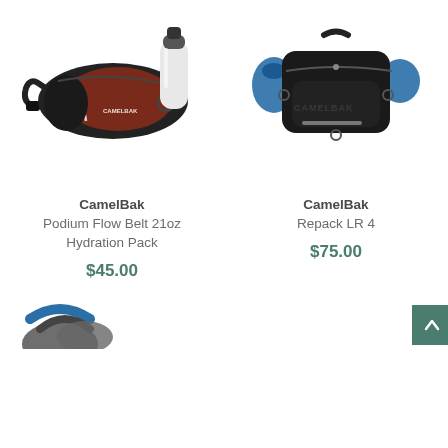[Figure (photo): CamelBak Podium Flow Belt 21oz Hydration Pack - red and black fanny pack/waist bag with white water bottle]
[Figure (photo): CamelBak Repack LR 4 - black lumbar pack/hip bag with blue hydration reservoir]
CamelBak
Podium Flow Belt 21oz Hydration Pack
$45.00
CamelBak
Repack LR 4
$75.00
[Figure (photo): Partial view of another CamelBak product at bottom of page]
[Figure (other): Back to top arrow button - dark green square with white upward chevron]